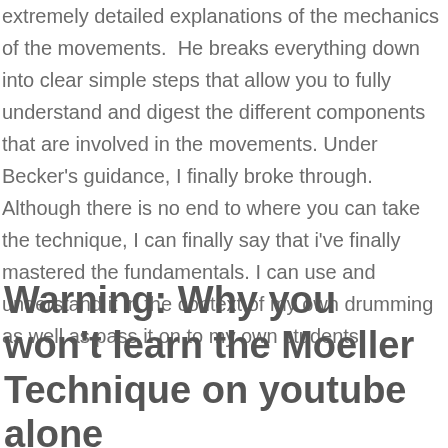extremely detailed explanations of the mechanics of the movements.  He breaks everything down into clear simple steps that allow you to fully understand and digest the different components that are involved in the movements. Under Becker's guidance, I finally broke through. Although there is no end to where you can take the technique, I can finally say that i've finally mastered the fundamentals. I can use and understand it in the context of my own drumming as well as pass it on to my own students.
Warning: Why you won't learn the Moeller Technique on youtube alone